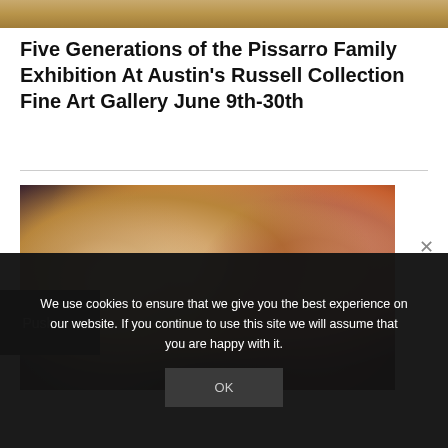[Figure (photo): Top portion of an image showing a warm-toned scene, partially visible at the top of the page]
Five Generations of the Pissarro Family Exhibition At Austin's Russell Collection Fine Art Gallery June 9th-30th
[Figure (photo): Two smiling women posing together on what appears to be a stage or entertainment venue with colorful lighting. A dark black button/box labeled 'Push me' overlays the left side.]
We use cookies to ensure that we give you the best experience on our website. If you continue to use this site we will assume that you are happy with it.